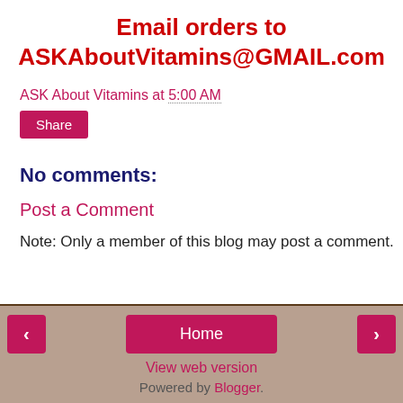Email orders to ASKAboutVitamins@GMAIL.com
ASK About Vitamins at 5:00 AM
Share
No comments:
Post a Comment
Note: Only a member of this blog may post a comment.
< Home > View web version Powered by Blogger.